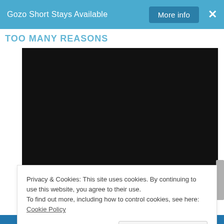Gozo Short Stays Available   More info   ×
TOO MANY REASONS
[Figure (other): Black rectangle representing a video player embed area]
Privacy & Cookies: This site uses cookies. By continuing to use this website, you agree to their use.
To find out more, including how to control cookies, see here: Cookie Policy
Close and accept